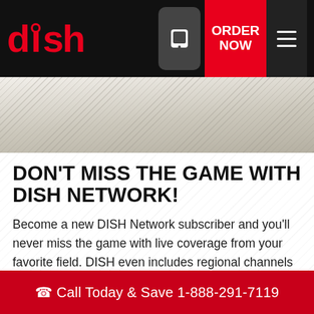[Figure (logo): DISH Network logo in red on black header bar with phone icon, ORDER NOW red button, and hamburger menu]
[Figure (illustration): Diagonal stripe decorative banner in beige/tan tones]
DON'T MISS THE GAME WITH DISH NETWORK!
Become a new DISH Network subscriber and you'll never miss the game with live coverage from your favorite field. DISH even includes regional channels in their packages, free of charge! You won't find a better TV provider in Acra, NY than DISH Network. Buy a package now and enjoy the best coverage.
Call Today & Save 1-888-291-7119